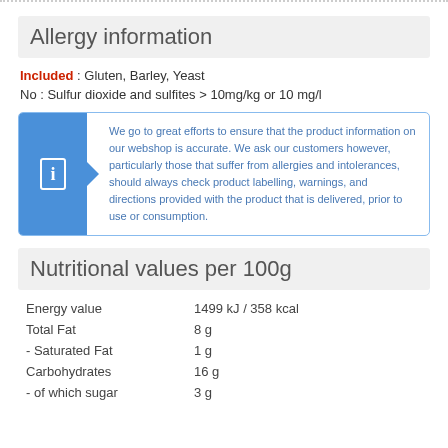Allergy information
Included : Gluten, Barley, Yeast
No : Sulfur dioxide and sulfites > 10mg/kg or 10 mg/l
We go to great efforts to ensure that the product information on our webshop is accurate. We ask our customers however, particularly those that suffer from allergies and intolerances, should always check product labelling, warnings, and directions provided with the product that is delivered, prior to use or consumption.
Nutritional values per 100g
| Nutrient | Amount |
| --- | --- |
| Energy value | 1499 kJ / 358 kcal |
| Total Fat | 8 g |
| - Saturated Fat | 1 g |
| Carbohydrates | 16 g |
| - of which sugar | 3 g |